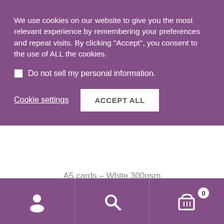We use cookies on our website to give you the most relevant experience by remembering your preferences and repeat visits. By clicking “Accept”, you consent to the use of ALL the cookies.
Do not sell my personal information.
Cookie settings
ACCEPT ALL
A5 cards – White 300gsm
€2.75
Add to Wishlist
Email When Available